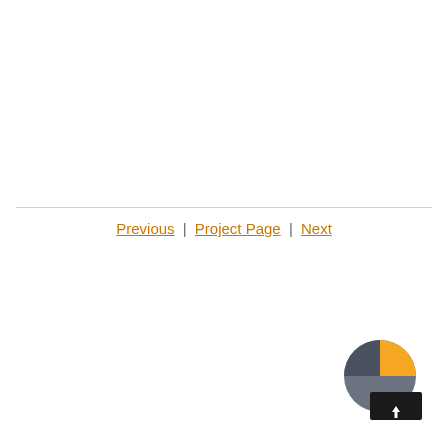Previous | Project Page | Next
[Figure (logo): Circular logo showing a half moon / half dark background design with a yellow quarter, dark gray section, and an upward arrow in a black rectangle at the bottom right.]